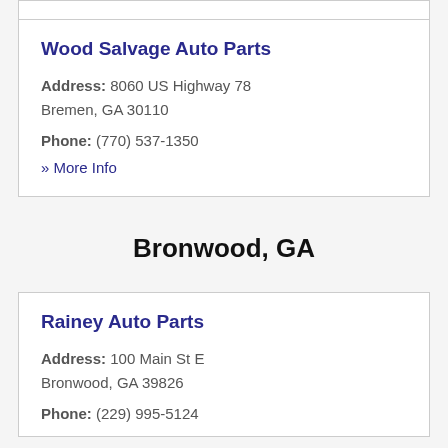Wood Salvage Auto Parts
Address: 8060 US Highway 78
Bremen, GA 30110
Phone: (770) 537-1350
» More Info
Bronwood, GA
Rainey Auto Parts
Address: 100 Main St E
Bronwood, GA 39826
Phone: (229) 995-5124